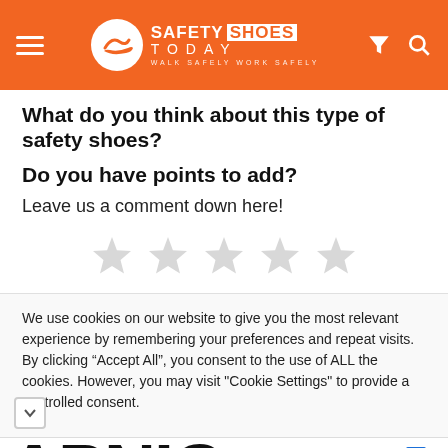Safety Shoes Today — WALK SAFELY WORK SAFELY
What do you think about this type of safety shoes?
Do you have points to add?
Leave us a comment down here!
[Figure (other): Five empty star rating icons arranged horizontally]
We use cookies on our website to give you the most relevant experience by remembering your preferences and repeat visits. By clicking "Accept All", you consent to the use of ALL the cookies. However, you may visit "Cookie Settings" to provide a controlled consent.
Thank you for helping us measure the Internet.